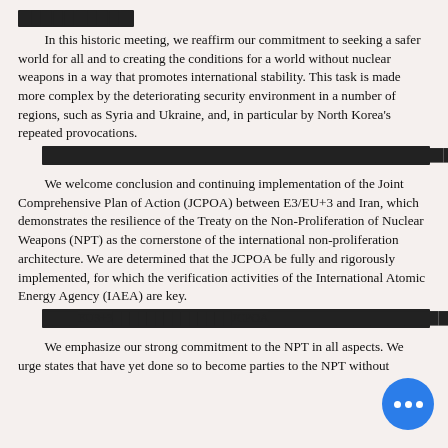▓▓▓▓▓▓▓▓▓▓ (redacted)
In this historic meeting, we reaffirm our commitment to seeking a safer world for all and to creating the conditions for a world without nuclear weapons in a way that promotes international stability. This task is made more complex by the deteriorating security environment in a number of regions, such as Syria and Ukraine, and, in particular by North Korea's repeated provocations.
[redacted foreign language text]
We welcome conclusion and continuing implementation of the Joint Comprehensive Plan of Action (JCPOA) between E3/EU+3 and Iran, which demonstrates the resilience of the Treaty on the Non-Proliferation of Nuclear Weapons (NPT) as the cornerstone of the international non-proliferation architecture. We are determined that the JCPOA be fully and rigorously implemented, for which the verification activities of the International Atomic Energy Agency (IAEA) are key.
[redacted foreign language text referencing EU3+3, JCPOA, NPT, IAEA]
We emphasize our strong commitment to the NPT in all aspects. We urge states that have yet done so to become parties to the NPT without